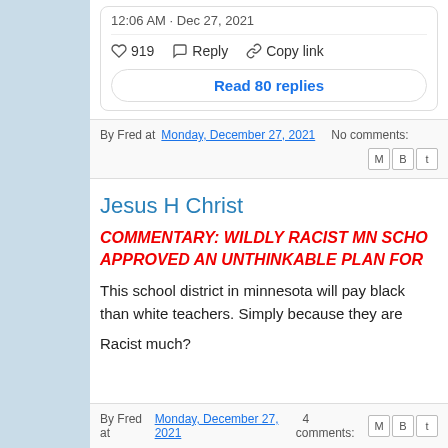12:06 AM · Dec 27, 2021
919   Reply   Copy link
Read 80 replies
By Fred at Monday, December 27, 2021   No comments:
Jesus H Christ
COMMENTARY: WILDLY RACIST MN SCHO APPROVED AN UNTHINKABLE PLAN FOR
This school district in minnesota will pay black than white teachers. Simply because they are
Racist much?
By Fred at Monday, December 27, 2021   4 comments: